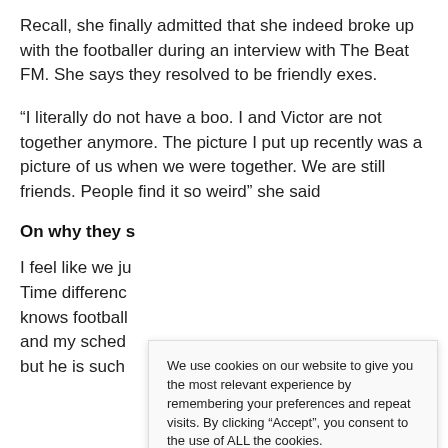Recall, she finally admitted that she indeed broke up with the footballer during an interview with The Beat FM. She says they resolved to be friendly exes.
“I literally do not have a boo. I and Victor are not together anymore. The picture I put up recently was a picture of us when we were together. We are still friends. People find it so weird” she said
On why they s
I feel like we ju Time differenc knows football and my sched but he is such
We use cookies on our website to give you the most relevant experience by remembering your preferences and repeat visits. By clicking “Accept”, you consent to the use of ALL the cookies. Read More
Cookie settings  ACCEPT